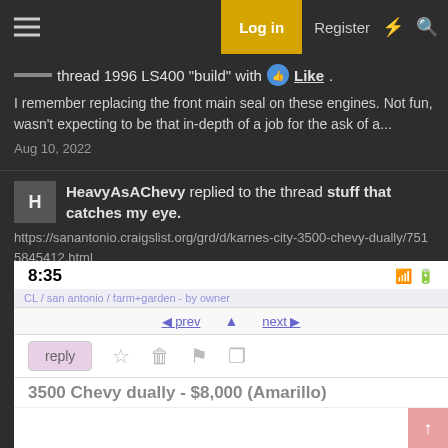Log in  Register
thread 1996 LS400 "build" with Like.
I remember replacing the front main seal on these engines. Not fun, wasn't expecting to be that in-depth of a job for the ask of a...
Aug 10, 2022
HeavyAsAChevy replied to the thread stuff that catches my eye.
https://sanantonio.craigslist.org/grd/d/karnes-city-3500-chevy-dually/7515845412.html
[Figure (screenshot): Screenshot of a Craigslist listing on mobile showing time 8:35, navigation controls (prev/next), action buttons (reply, star, delete, flag, share), and listing title '3500 Chevy dually - $8,000 (Amarillo)']